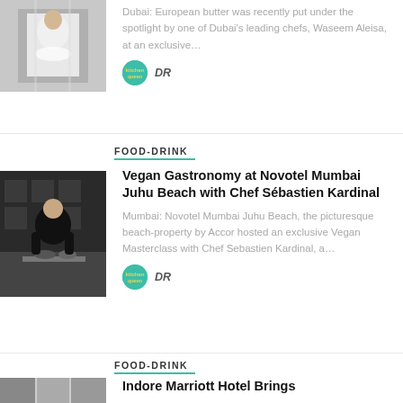[Figure (photo): Chef in white uniform holding a plate, standing in front of a white backdrop with text]
Dubai: European butter was recently put under the spotlight by one of Dubai's leading chefs, Waseem Aleisa, at an exclusive…
[Figure (logo): Round teal logo with yellow text]
DR
FOOD-DRINK
[Figure (photo): Chef in black uniform preparing food at a table with Accor/Novotel branded backdrop]
Vegan Gastronomy at Novotel Mumbai Juhu Beach with Chef Sébastien Kardinal
Mumbai: Novotel Mumbai Juhu Beach, the picturesque beach-property by Accor hosted an exclusive Vegan Masterclass with Chef Sebastien Kardinal, a…
[Figure (logo): Round teal logo with yellow text]
DR
FOOD-DRINK
[Figure (photo): Partial photo of a hotel or restaurant scene]
Indore Marriott Hotel Brings